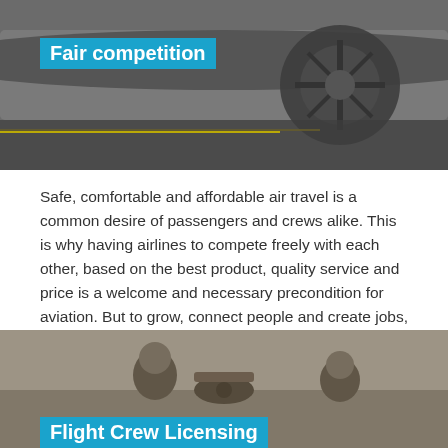[Figure (photo): Aerial view of an aircraft on a tarmac, showing fuselage and engine from above, in dark/grey tones]
Fair competition
Safe, comfortable and affordable air travel is a common desire of passengers and crews alike. This is why having airlines to compete freely with each other, based on the best product, quality service and price is a welcome and necessary precondition for aviation. But to grow, connect people and create jobs, Europe's airlines should compete on a level playing field with a common set of rules.
[Figure (photo): Black and white photo of children dressed as aviators with a toy airplane]
Flight Crew Licensing